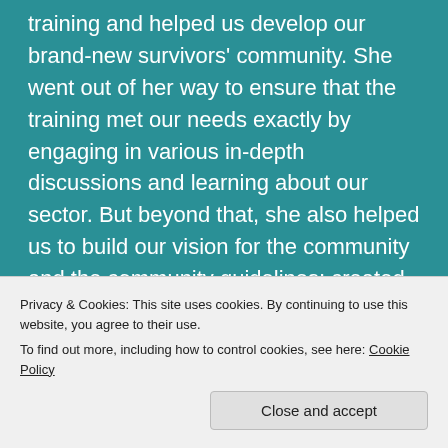training and helped us develop our brand-new survivors' community. She went out of her way to ensure that the training met our needs exactly by engaging in various in-depth discussions and learning about our sector. But beyond that, she also helped us to build our vision for the community and the community guidelines; created an editable handbook for our future use and changing needs as the community grows; and offered ongoing support with tweaking the training as the forum develops.
Privacy & Cookies: This site uses cookies. By continuing to use this website, you agree to their use.
To find out more, including how to control cookies, see here: Cookie Policy